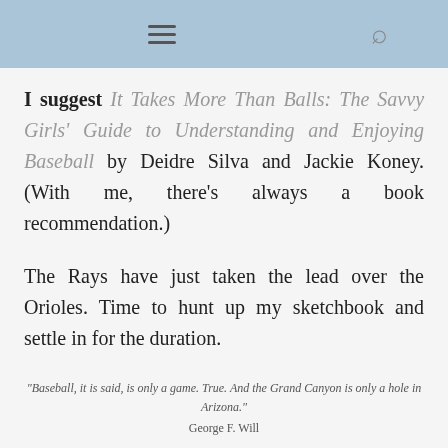≡  🔍
I suggest It Takes More Than Balls: The Savvy Girls' Guide to Understanding and Enjoying Baseball by Deidre Silva and Jackie Koney. (With me, there's always a book recommendation.)
The Rays have just taken the lead over the Orioles. Time to hunt up my sketchbook and settle in for the duration.
"Baseball, it is said, is only a game. True. And the Grand Canyon is only a hole in Arizona."

George F. Will